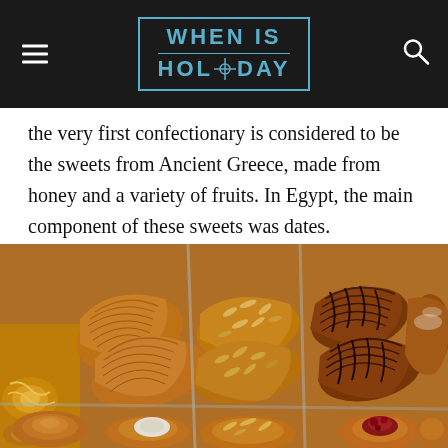WHEN IS HOLIDAY
the very first confectionary is considered to be the sweets from Ancient Greece, made from honey and a variety of fruits. In Egypt, the main component of these sweets was dates.
[Figure (photo): Overhead view of a bakery display with assorted pastries including croissants, almond croissants, chocolate-drizzled pastries, and various filled Danish pastries arranged in trays and plates.]